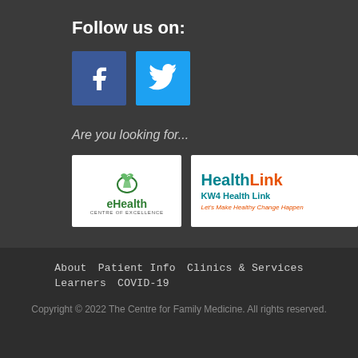Follow us on:
[Figure (logo): Facebook logo icon (white f on blue background)]
[Figure (logo): Twitter bird logo icon (white bird on light blue background)]
Are you looking for...
[Figure (logo): eHealth Centre of Excellence logo - green leaf/flame icon with text 'eHealth' and 'CENTRE OF EXCELLENCE' below]
[Figure (logo): HealthLink KW4 Health Link logo - teal 'Health' orange 'Link' text with tagline 'Let's Make Healthy Change Happen']
About   Patient Info   Clinics & Services   Learners   COVID-19
Copyright © 2022 The Centre for Family Medicine. All rights reserved.